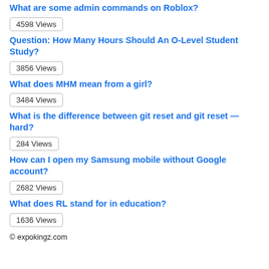What are some admin commands on Roblox?
4598 Views
Question: How Many Hours Should An O-Level Student Study?
3856 Views
What does MHM mean from a girl?
3484 Views
What is the difference between git reset and git reset — hard?
284 Views
How can I open my Samsung mobile without Google account?
2682 Views
What does RL stand for in education?
1636 Views
© expokingz.com